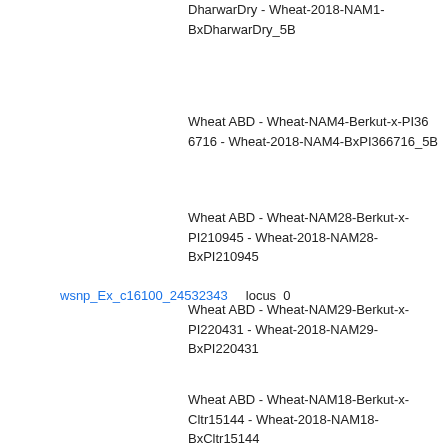DharwarDry - Wheat-2018-NAM1-BxDharwarDry_5B
Wheat ABD - Wheat-NAM4-Berkut-x-PI366716 - Wheat-2018-NAM4-BxPI366716_5B
Wheat ABD - Wheat-NAM28-Berkut-x-PI210945 - Wheat-2018-NAM28-BxPI210945
Wheat ABD - Wheat-NAM29-Berkut-x-PI220431 - Wheat-2018-NAM29-BxPI220431
wsnp_Ex_c16100_24532343    locus   0
Wheat ABD - Wheat-NAM18-Berkut-x-Cltr15144 - Wheat-2018-NAM18-BxCltr15144
Wheat ABD - Wheat-NAM12-Berkut-x-Cltr11223 - Wheat-2018-NAM12-BxCltr11223
Wheat ABD - Wheat-NAM7-Berkut-x-PI565659 - Wheat-2018-NAM7